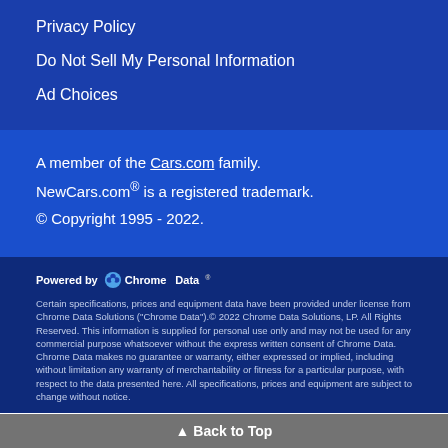Privacy Policy
Do Not Sell My Personal Information
Ad Choices
A member of the Cars.com family.
NewCars.com® is a registered trademark.
© Copyright 1995 - 2022.
Powered by Chrome Data
Certain specifications, prices and equipment data have been provided under license from Chrome Data Solutions ("Chrome Data").© 2022 Chrome Data Solutions, LP. All Rights Reserved. This information is supplied for personal use only and may not be used for any commercial purpose whatsoever without the express written consent of Chrome Data. Chrome Data makes no guarantee or warranty, either expressed or implied, including without limitation any warranty of merchantability or fitness for a particular purpose, with respect to the data presented here. All specifications, prices and equipment are subject to change without notice.
▲ Back to Top